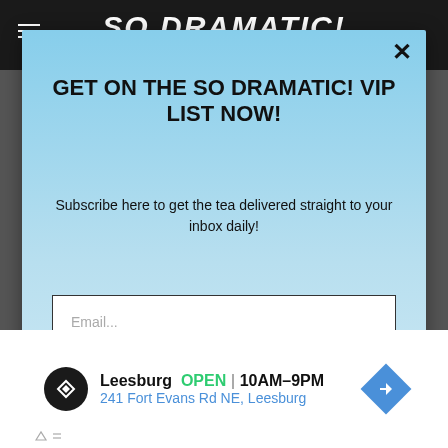SO DRAMATIC!
GET ON THE SO DRAMATIC! VIP LIST NOW!
Subscribe here to get the tea delivered straight to your inbox daily!
Email...
SUBSCRIBE
[Figure (other): Advertisement banner: Leesburg OPEN 10AM-9PM, 241 Fort Evans Rd NE, Leesburg with navigation arrow icon]